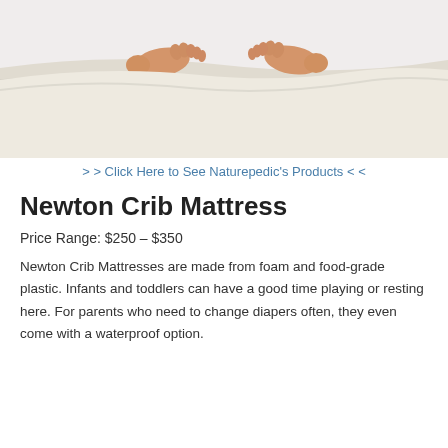[Figure (photo): Photo of child feet peeking out from under white bedsheets/blanket on a bed]
> > Click Here to See Naturepedic's Products < <
Newton Crib Mattress
Price Range: $250 – $350
Newton Crib Mattresses are made from foam and food-grade plastic. Infants and toddlers can have a good time playing or resting here. For parents who need to change diapers often, they even come with a waterproof option.